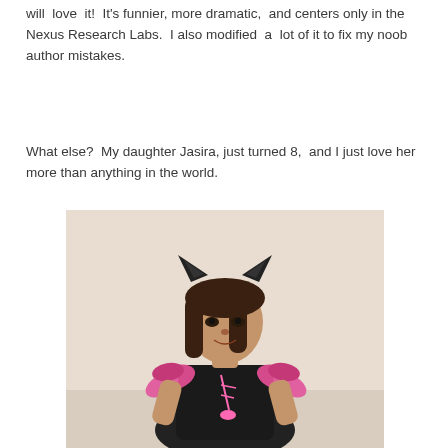will  love  it!  It's funnier, more dramatic,  and centers only in the Nexus Research Labs.  I also modified  a  lot of it to fix my noob author mistakes.
What else?  My daughter Jasira, just turned 8,  and I just love her more than anything in the world.
[Figure (photo): A young girl wearing a black cat costume with ears and pink feather/tulle accents, posing against a light-colored wall, smiling at the camera.]